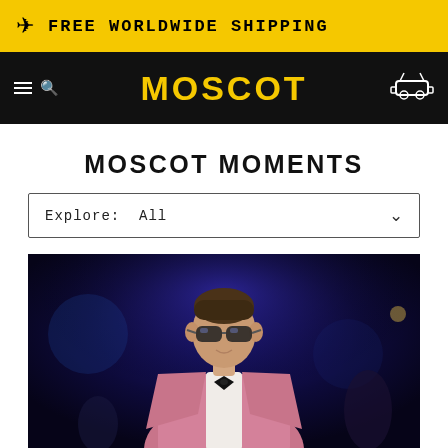FREE WORLDWIDE SHIPPING
MOSCOT
MOSCOT MOMENTS
Explore:  All
[Figure (photo): A man in a pink velvet blazer with black bow tie and dark sunglasses, standing at what appears to be a formal event with blue/purple lighting in background]